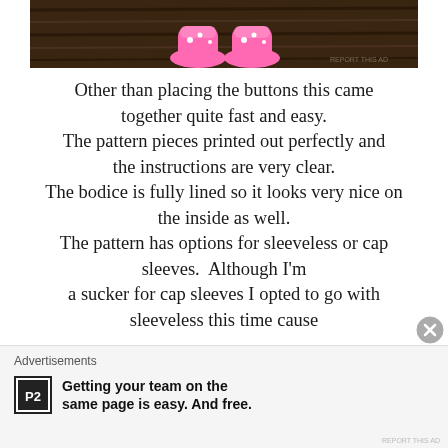[Figure (photo): Photo of a child's pink sneakers on a dark wooden surface, cropped at top]
Other than placing the buttons this came together quite fast and easy. The pattern pieces printed out perfectly and the instructions are very clear. The bodice is fully lined so it looks very nice on the inside as well. The pattern has options for sleeveless or cap sleeves. Although I'm a sucker for cap sleeves I opted to go with sleeveless this time cause
Advertisements
Getting your team on the same page is easy. And free.